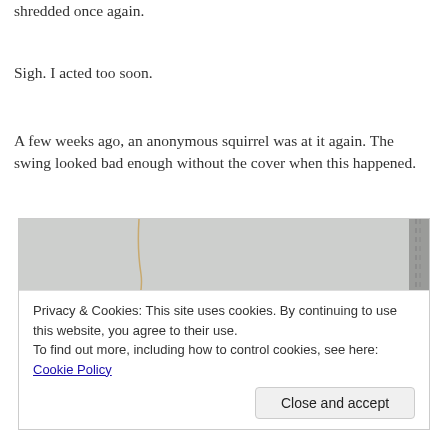shredded once again.
Sigh. I acted too soon.
A few weeks ago, an anonymous squirrel was at it again. The swing looked bad enough without the cover when this happened.
[Figure (photo): Close-up photo of a damaged fabric cushion or swing cover, showing tears and shredding on a grey/beige fabric surface with visible stitching on the right edge.]
Privacy & Cookies: This site uses cookies. By continuing to use this website, you agree to their use.
To find out more, including how to control cookies, see here: Cookie Policy
Close and accept